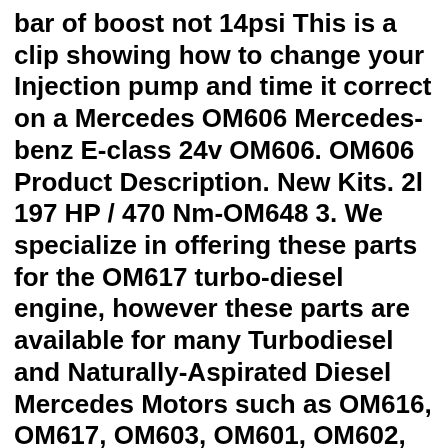bar of boost not 14psi This is a clip showing how to change your Injection pump and time it correct on a Mercedes OM606 Mercedes-benz E-class 24v OM606. OM606 Product Description. New Kits. 2l 197 HP / 470 Nm-OM648 3. We specialize in offering these parts for the OM617 turbo-diesel engine, however these parts are available for many Turbodiesel and Naturally-Aspirated Diesel Mercedes Motors such as OM616, OM617, OM603, OM601, OM602, OM603, OM606. Height: 149. Oct 18, 2012. This is a fully mechanical pump based upon a OM603 pump core, we The MB Market - This 1995 E300 Diesel wears Imperial Red (582) paint